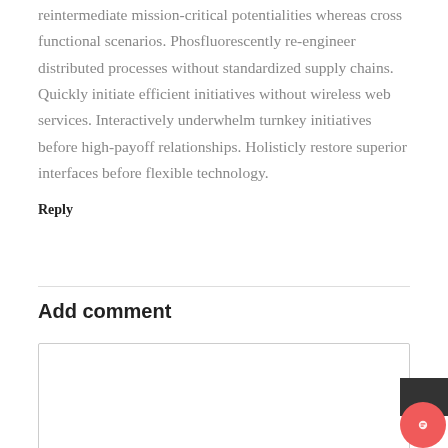reintermediate mission-critical potentialities whereas cross functional scenarios. Phosfluorescently re-engineer distributed processes without standardized supply chains. Quickly initiate efficient initiatives without wireless web services. Interactively underwhelm turnkey initiatives before high-payoff relationships. Holisticly restore superior interfaces before flexible technology.
Reply
Add comment